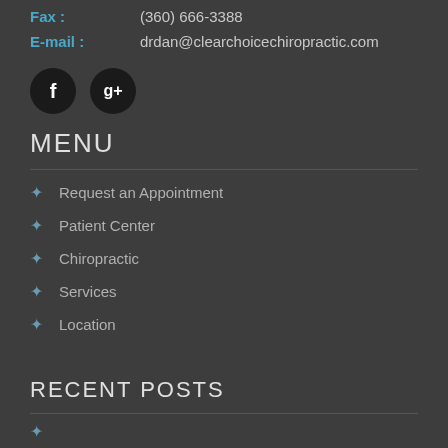Fax : (360) 666-3388
E-mail : drdan@clearchoicechiropractic.com
[Figure (illustration): Two circular social media icons: Facebook (f) and Google+ (g+) on dark background]
MENU
Request an Appointment
Patient Center
Chiropractic
Services
Location
RECENT POSTS